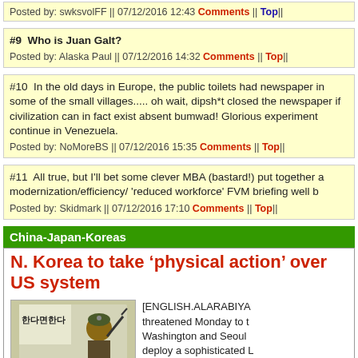Posted by: swksvolFF || 07/12/2016 12:43 Comments || Top||
#9  Who is Juan Galt?
Posted by: Alaska Paul || 07/12/2016 14:32 Comments || Top||
#10  In the old days in Europe, the public toilets had newspaper in some of the small villages..... oh wait, dipsh*t closed the newspaper if civilization can in fact exist absent bumwad! Glorious experiment continue in Venezuela.
Posted by: NoMoreBS || 07/12/2016 15:35 Comments || Top||
#11  All true, but I'll bet some clever MBA (bastard!) put together a modernization/efficiency/ 'reduced workforce' FVM briefing well b
Posted by: Skidmark || 07/12/2016 17:10 Comments || Top||
China-Japan-Koreas
N. Korea to take ‘physical action’ over US system
[ENGLISH.ALARABIYA threatened Monday to t Washington and Seoul deploy a sophisticated L